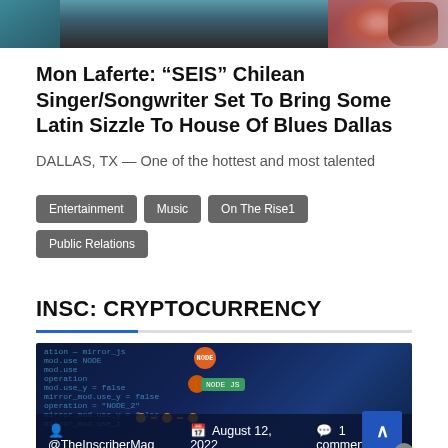[Figure (photo): Cropped top portion of a person with colorful tattoos visible on their arm/shoulder, teal/dark background]
Mon Laferte: “SEIS” Chilean Singer/Songwriter Set To Bring Some Latin Sizzle To House Of Blues Dallas
DALLAS, TX — One of the hottest and most talented
Entertainment
Music
On The Rise1
Public Relations
INSC: CRYPTOCURRENCY
[Figure (screenshot): Dark blue cryptocurrency/coding themed image with code lines, orange node circles, a green NODE.JS label, and metadata bar showing @TheInscriberMag, August 12 2022, 1 comment]